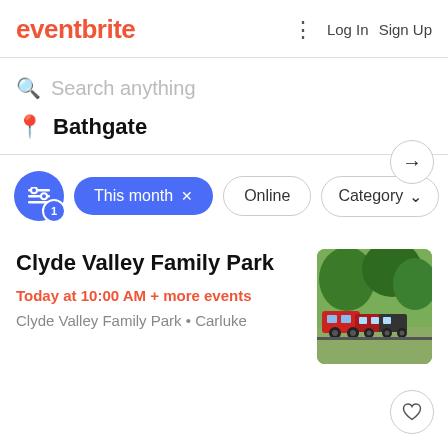eventbrite — Log In  Sign Up
Search anything
Bathgate
This month × — Online — Category
Clyde Valley Family Park
Today at 10:00 AM + more events
Clyde Valley Family Park • Carluke
[Figure (photo): Photo of a miniature train ride at Clyde Valley Family Park with trees in the background]